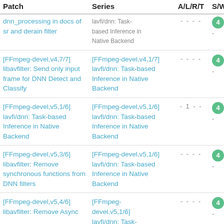| Patch | Series | A/L/R/T | S/W/ |
| --- | --- | --- | --- |
| dnn_processing in docs of sr and derain filter | lavfi/dnn: Task-based Inference in Native Backend | - - - - | 4 - |
| [FFmpeg-devel,v4,7/7] libavfilter: Send only input frame for DNN Detect and Classify | [FFmpeg-devel,v4,1/7] lavfi/dnn: Task-based Inference in Native Backend | - - - - | 4 - |
| [FFmpeg-devel,v5,1/6] lavfi/dnn: Task-based Inference in Native Backend | [FFmpeg-devel,v5,1/6] lavfi/dnn: Task-based Inference in Native Backend | - 1 - - | 4 - |
| [FFmpeg-devel,v5,3/6] libavfilter: Remove synchronous functions from DNN filters | [FFmpeg-devel,v5,1/6] lavfi/dnn: Task-based Inference in Native Backend | - - - - | 4 - |
| [FFmpeg-devel,v5,4/6] libavfilter: Remove Async | [FFmpeg-devel,v5,1/6] lavfi/dnn: Task-based | - - - - | 4 - |